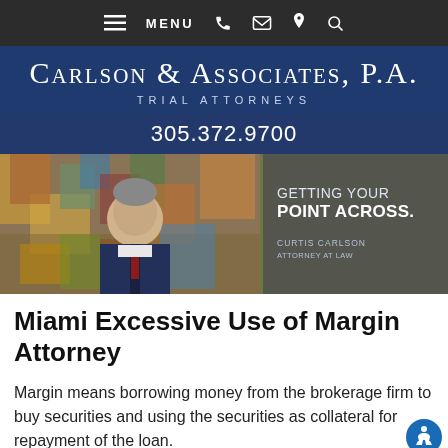MENU (navigation bar with phone, email, location, search icons)
Carlson & Associates, P.A. Trial Attorneys
305.372.9700
[Figure (photo): Hero image of Curtis Carlson, Attorney at Law, seated in front of colorful artwork, with overlay text: GETTING YOUR POINT ACROSS. Curtis Carlson, Attorney at Law]
Miami Excessive Use of Margin Attorney
Margin means borrowing money from the brokerage firm to buy securities and using the securities as collateral for repayment of the loan.